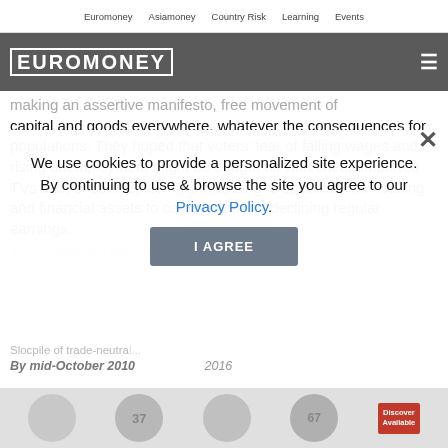Euromoney   Asiamoney   Country Risk   Learning   Events
[Figure (logo): Euromoney logo in white block letters on dark grey header bar with hamburger menu icon]
...making an assertive manifesto, free movement of capital and goods everywhere, whatever the consequences for populations. They hoped that voters' fear of falling wages and rising unemployment might be bought off with cheap imported TVs and, of course, low-rate financing to speculate on housing and financial assets to compensate for declining regular earnings from traditional sources like ... actual jobs.
We use cookies to provide a personalized site experience.
By continuing to use & browse the site you agree to our Privacy Policy.
Slocpile of trade-neutral...
By mid-October 2010                    2016
[Figure (illustration): Bottom image strip with circular thumbnail images and a Discover Available badge]